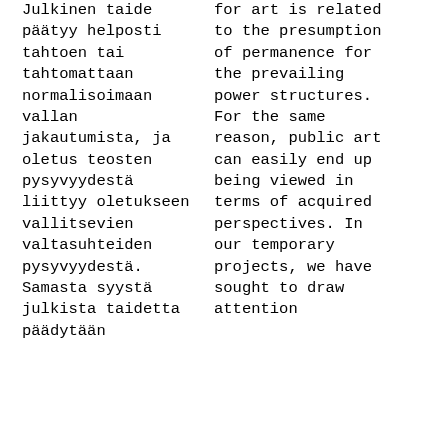Julkinen taide päätyy helposti tahtoen tai tahtomattaan normalisoimaan vallan jakautumista, ja oletus teosten pysyvyydestä liittyy oletukseen vallitsevien valtasuhteiden pysyvyydestä. Samasta syystä julkista taidetta päädytään
for art is related to the presumption of permanence for the prevailing power structures. For the same reason, public art can easily end up being viewed in terms of acquired perspectives. In our temporary projects, we have sought to draw attention